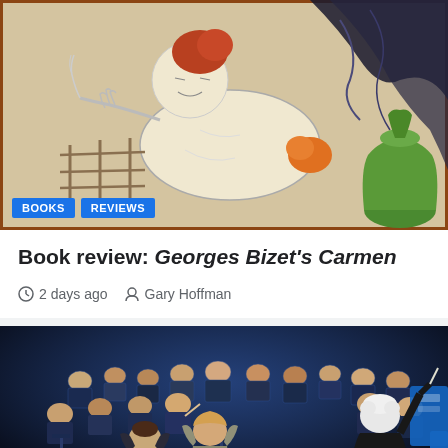[Figure (illustration): Illustrated artwork showing a woman reclining, reminiscent of a Carmen opera poster, with colorful decorative elements including a green vase]
BOOKS  REVIEWS
Book review: Georges Bizet's Carmen
2 days ago   Gary Hoffman
[Figure (photo): Concert photo showing two female singers in formal gowns on stage with a full orchestra behind them and a conductor with white hair conducting with back to camera]